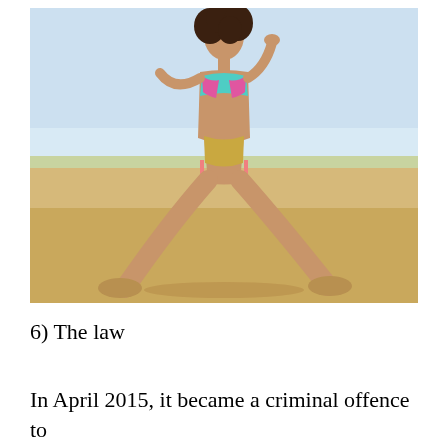[Figure (photo): A woman in a bikini posing on a sandy beach with her legs spread wide apart, arms raised, against a bright sky background.]
6) The law
In April 2015, it became a criminal offence to